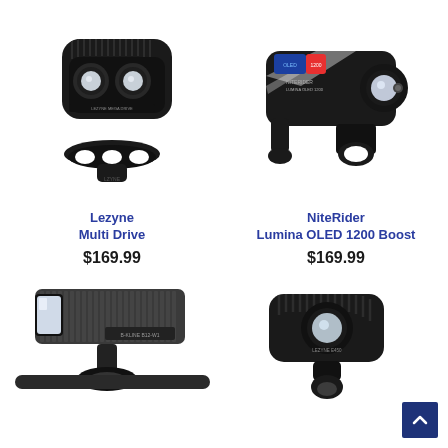[Figure (photo): Lezyne Multi Drive bicycle headlight, black, with two LEDs and mounting bracket]
Lezyne
Multi Drive
$169.99
[Figure (photo): NiteRider Lumina OLED 1200 Boost bicycle headlight, black with white stripes, single LED, OLED display]
NiteRider
Lumina OLED 1200 Boost
$169.99
[Figure (photo): B-Klime bicycle headlight, rectangular black light on handlebar mount]
[Figure (photo): Lezyne E450 bicycle headlight, black compact light on mount]